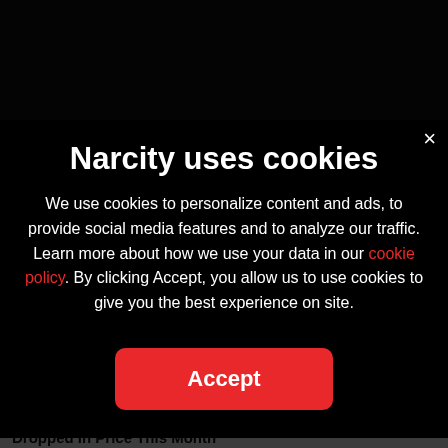Narcity uses cookies
We use cookies to personalize content and ads, to provide social media features and to analyze our traffic. Learn more about how we use your data in our cookie policy. By clicking Accept, you allow us to use cookies to give you the best experience on site.
Accept
The Cheapest Place To Rent In Ontario Actually Dropped In Price This Month